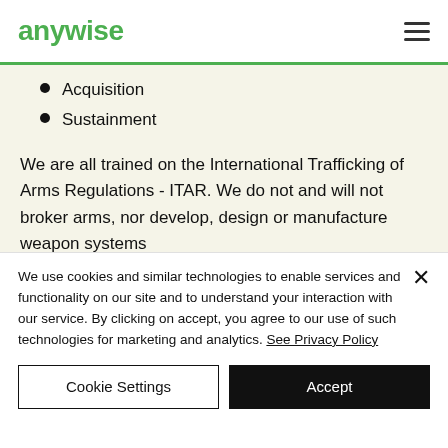anywise
Acquisition
Sustainment
We are all trained on the International Trafficking of Arms Regulations - ITAR. We do not and will not broker arms, nor develop, design or manufacture weapon systems
We use cookies and similar technologies to enable services and functionality on our site and to understand your interaction with our service. By clicking on accept, you agree to our use of such technologies for marketing and analytics. See Privacy Policy